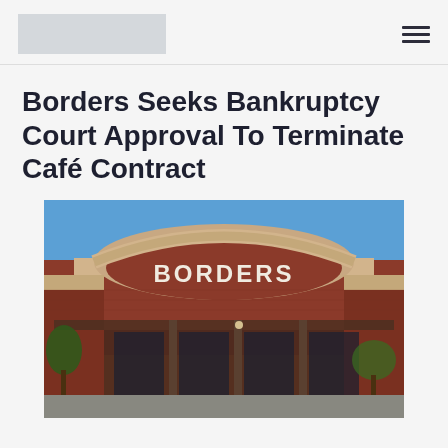[logo placeholder] [hamburger menu]
Borders Seeks Bankruptcy Court Approval To Terminate Café Contract
[Figure (photo): Exterior photograph of a Borders bookstore building. Brick facade with 'BORDERS' lettering on the storefront arch. Blue sky in background, parking area in foreground.]